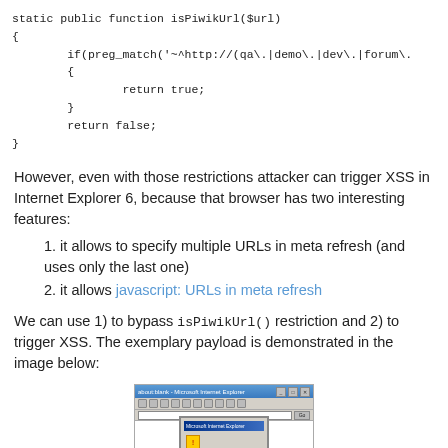static public function isPiwikUrl($url)
{
        if(preg_match('~^http://(qa\.|demo\.|dev\.|forum\.
        {
                return true;
        }
        return false;
}
However, even with those restrictions attacker can trigger XSS in Internet Explorer 6, because that browser has two interesting features:
1. it allows to specify multiple URLs in meta refresh (and uses only the last one)
2. it allows javascript: URLs in meta refresh
We can use 1) to bypass isPiwikUrl() restriction and 2) to trigger XSS. The exemplary payload is demonstrated in the image below:
[Figure (screenshot): Screenshot of Internet Explorer 6 browser window showing a security warning dialog with a yellow warning icon, demonstrating the XSS payload.]